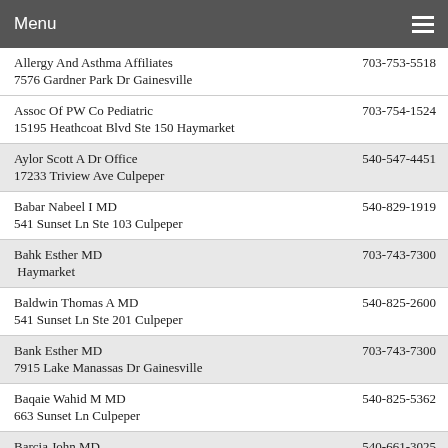Menu
Allergy And Asthma Affiliates | 703-753-5518 | 7576 Gardner Park Dr Gainesville
Assoc Of PW Co Pediatric | 703-754-1524 | 15195 Heathcoat Blvd Ste 150 Haymarket
Aylor Scott A Dr Office | 540-547-4451 | 17233 Triview Ave Culpeper
Babar Nabeel I MD | 540-829-1919 | 541 Sunset Ln Ste 103 Culpeper
Bahk Esther MD | 703-743-7300 | Haymarket
Baldwin Thomas A MD | 540-825-2600 | 541 Sunset Ln Ste 201 Culpeper
Bank Esther MD | 703-743-7300 | 7915 Lake Manassas Dr Gainesville
Baqaie Wahid M MD | 540-825-5362 | 663 Sunset Ln Culpeper
Barcia John MD | 540-661-3025 | 661 University Ln Orange
Bargmann Eve MD | 540-661-3004